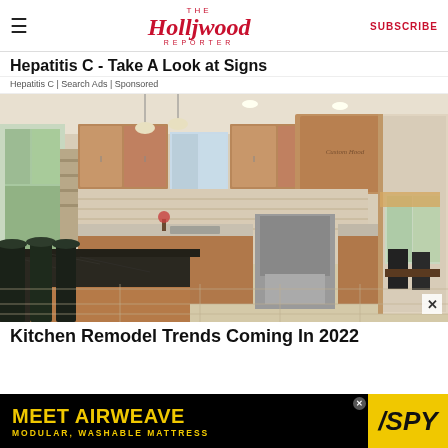≡  The Hollywood Reporter  SUBSCRIBE
Hepatitis C - Take A Look at Signs
Hepatitis C | Search Ads | Sponsored
[Figure (photo): Interior photo of a renovated kitchen with dark granite island countertop, wooden cabinets, stainless steel appliances, pendant lighting, and tile floor. Bar stools at the island. Dining area visible in background through doorway.]
Kitchen Remodel Trends Coming In 2022
[Figure (other): Advertisement banner: MEET AIRWEAVE / MODULAR, WASHABLE MATTRESS with SPY logo on yellow background]